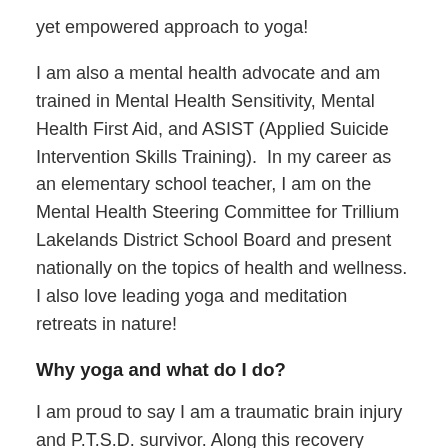yet empowered approach to yoga!
I am also a mental health advocate and am trained in Mental Health Sensitivity, Mental Health First Aid, and ASIST (Applied Suicide Intervention Skills Training).  In my career as an elementary school teacher, I am on the Mental Health Steering Committee for Trillium Lakelands District School Board and present nationally on the topics of health and wellness. I also love leading yoga and meditation retreats in nature!
Why yoga and what do I do?
I am proud to say I am a traumatic brain injury and P.T.S.D. survivor. Along this recovery journey, I came to understand the healing and transformative power of yoga firsthand. Yoga supported my recovery from the physical injuries